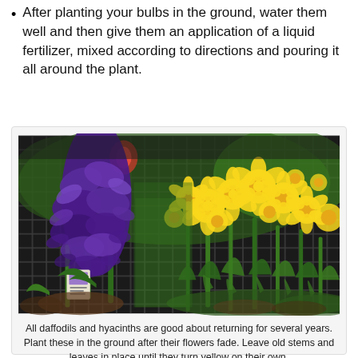After planting your bulbs in the ground, water them well and then give them an application of a liquid fertilizer, mixed according to directions and pouring it all around the plant.
[Figure (photo): Purple hyacinths and yellow daffodils growing together in black grid trays at a nursery or garden center, photographed outdoors in bright sunlight.]
All daffodils and hyacinths are good about returning for several years. Plant these in the ground after their flowers fade. Leave old stems and leaves in place until they turn yellow on their own.